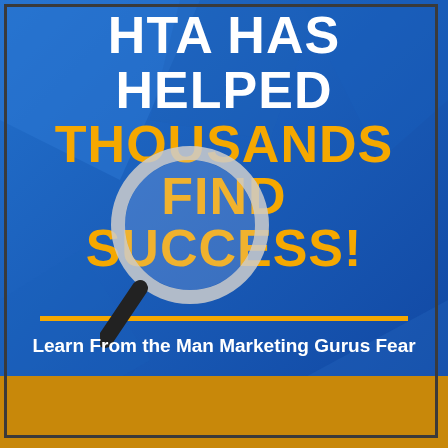HTA HAS HELPED THOUSANDS FIND SUCCESS!
[Figure (illustration): Magnifying glass graphic overlapping golden text]
Learn From the Man Marketing Gurus Fear
[Figure (illustration): Gold/amber bottom bar with partial circular graphic]